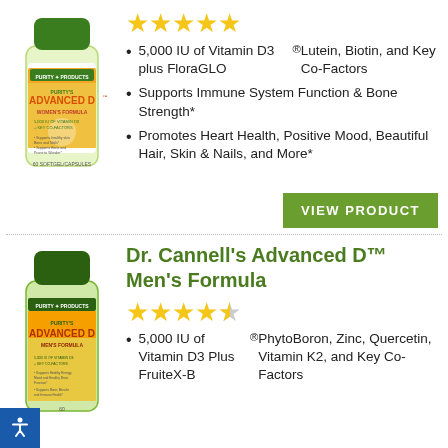[Figure (photo): Purity Products Advanced D Women's Formula supplement bottle, green cap, 60 capsules]
[Figure (other): 5 full gold stars rating]
5,000 IU of Vitamin D3 plus FloraGLO® Lutein, Biotin, and Key Co-Factors
Supports Immune System Function & Bone Strength*
Promotes Heart Health, Positive Mood, Beautiful Hair, Skin & Nails, and More*
VIEW PRODUCT
Dr. Cannell's Advanced D™ Men's Formula
[Figure (other): 4.5 gold stars rating]
[Figure (photo): Purity Products Advanced D Men's Formula supplement bottle, green cap, 60 capsules]
5,000 IU of Vitamin D3 Plus FruiteX-B® PhytoBoron, Zinc, Quercetin, Vitamin K2, and Key Co-Factors